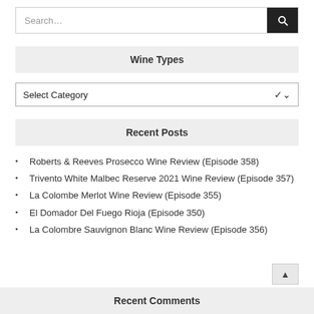[Figure (screenshot): Search bar with text input and dark search button with magnifying glass icon]
Wine Types
[Figure (screenshot): Select Category dropdown widget]
Recent Posts
Roberts & Reeves Prosecco Wine Review (Episode 358)
Trivento White Malbec Reserve 2021 Wine Review (Episode 357)
La Colombe Merlot Wine Review (Episode 355)
El Domador Del Fuego Rioja (Episode 350)
La Colombre Sauvignon Blanc Wine Review (Episode 356)
Recent Comments